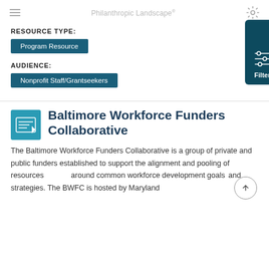Philanthropic Landscape®
RESOURCE TYPE:
Program Resource
AUDIENCE:
Nonprofit Staff/Grantseekers
Baltimore Workforce Funders Collaborative
The Baltimore Workforce Funders Collaborative is a group of private and public funders established to support the alignment and pooling of resources around common workforce development goals and strategies. The BWFC is hosted by Maryland